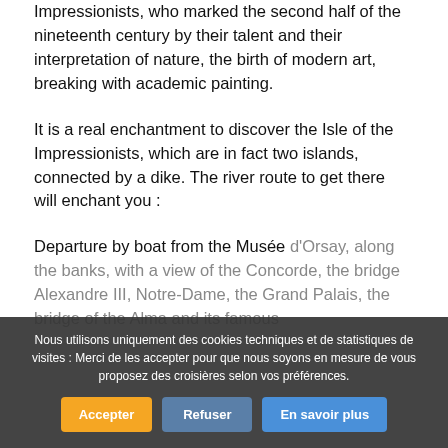Impressionists, who marked the second half of the nineteenth century by their talent and their interpretation of nature, the birth of modern art, breaking with academic painting.
It is a real enchantment to discover the Isle of the Impressionists, which are in fact two islands, connected by a dike. The river route to get there will enchant you :
Departure by boat from the Musée d'Orsay, along the banks, with a view of the Concorde, the bridge Alexandre III, Notre-Dame, the Grand Palais, the bridge of the Alma and its famous
Nous utilisons uniquement des cookies techniques et de statistiques de visites : Merci de les accepter pour que nous soyons en mesure de vous proposez des croisières selon vos préférences.